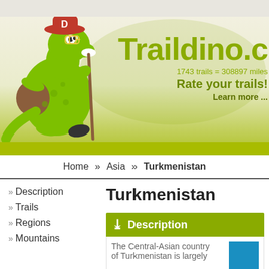[Figure (illustration): Traildino website banner with a cartoon dinosaur mascot wearing a red hat with 'D', carrying a backpack and hiking stick, on a cream/green gradient background with world map silhouette. Traildino.c logo text visible. Stats: 1743 trails = 308897 miles. Tagline: Rate your trails! Learn more ...]
Home » Asia » Turkmenistan
Turkmenistan
» Description
» Trails
» Regions
» Mountains
Description
The Central-Asian country of Turkmenistan is largely...